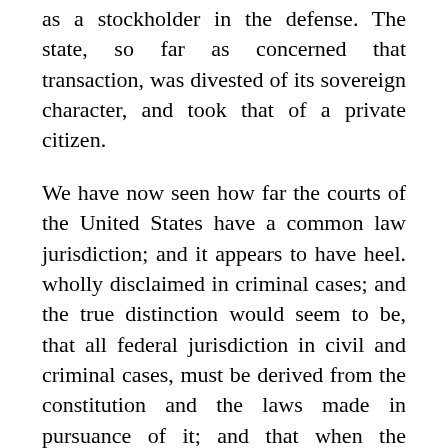as a stockholder in the defense. The state, so far as concerned that transaction, was divested of its sovereign character, and took that of a private citizen.
We have now seen how far the courts of the United States have a common law jurisdiction; and it appears to have heel. wholly disclaimed in criminal cases; and the true distinction would seem to be, that all federal jurisdiction in civil and criminal cases, must be derived from the constitution and the laws made in pursuance of it; and that when the jurisdiction is vested, the principles of the common law are necessary to the due exercise of that jurisdiction. We have seen, likewise, with what caution, and within what precise limits the federal courts have exercised